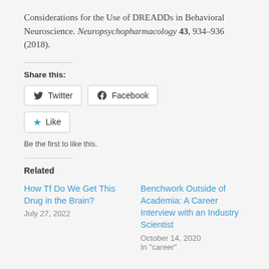Considerations for the Use of DREADDs in Behavioral Neuroscience. Neuropsychopharmacology 43, 934–936 (2018).
Share this:
Twitter
Facebook
Like
Be the first to like this.
Related
How Tf Do We Get This Drug in the Brain?
July 27, 2022
Benchwork Outside of Academia: A Career Interview with an Industry Scientist
October 14, 2020
In "career"